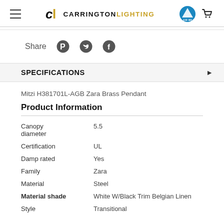Carrington Lighting
Share
SPECIFICATIONS
Mitzi H381701L-AGB Zara Brass Pendant
Product Information
| Property | Value |
| --- | --- |
| Canopy diameter | 5.5 |
| Certification | UL |
| Damp rated | Yes |
| Family | Zara |
| Material | Steel |
| Material shade | White W/Black Trim Belgian Linen |
| Style | Transitional |